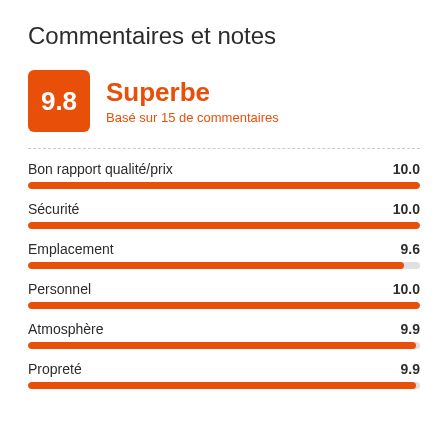Commentaires et notes
[Figure (infographic): Score badge showing 9.8 with label Superbe, based on 15 reviews]
[Figure (bar-chart): Ratings by category]